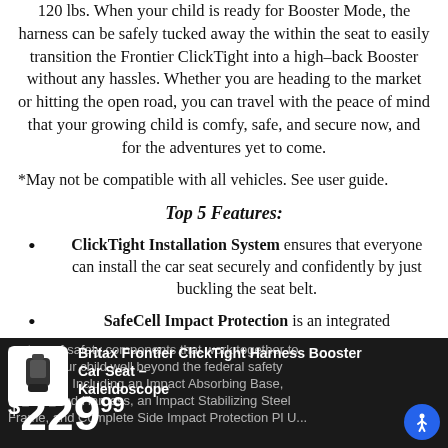120 lbs. When your child is ready for Booster Mode, the harness can be safely tucked away the within the seat to easily transition the Frontier ClickTight into a high-back Booster without any hassles. Whether you are heading to the market or hitting the open road, you can travel with the peace of mind that your growing child is comfy, safe, and secure now, and for the adventures yet to come.
*May not be compatible with all vehicles. See user guide.
Top 5 Features:
ClickTight Installation System ensures that everyone can install the car seat securely and confidently by just buckling the seat belt.
SafeCell Impact Protection is an integrated system of safety components that work together to protect your child well beyond the federal safety standards. Including an Impact Absorbing Base, Booster and Harness, an Impact Stabilizing Steel Frame, and Complete Side Impact Protection Pl U...
Britax Frontier ClickTight Harness Booster Car Seat – Kaleidoscope
$229.99